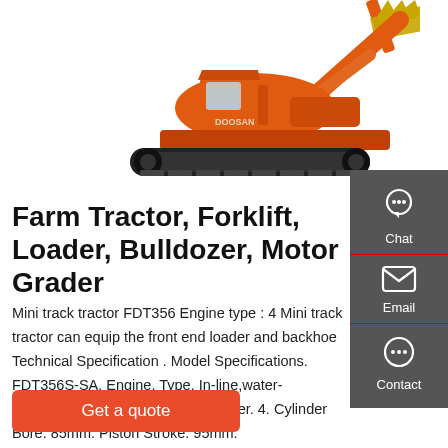[Figure (photo): Orange tracked excavator (crawler excavator) with yellow bucket, shown in profile view against white background]
Farm Tractor, Forklift, Loader, Bulldozer, Motor Grader
Mini track tractor FDT356 Engine type : 4 Mini track tractor can equip the front end loader and backhoe Technical Specification . Model Specifications. FDT356S-SA. Engine. Type. In-line,water-cooling,swirl chamber. No.of Cylinder. 4. Cylinder Bore. 85mm. Piston Stroke. 95mm.
Get a quote